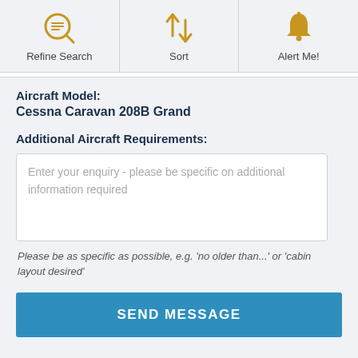[Figure (screenshot): Toolbar with three navigation icons: Refine Search (magnifier with lines), Sort (up-down arrows), Alert Me! (bell). All icons in gold/amber color.]
Aircraft Model:
Cessna Caravan 208B Grand
Additional Aircraft Requirements:
Enter your enquiry - please be specific on additional information required
Please be as specific as possible, e.g. 'no older than...' or 'cabin layout desired'
SEND MESSAGE